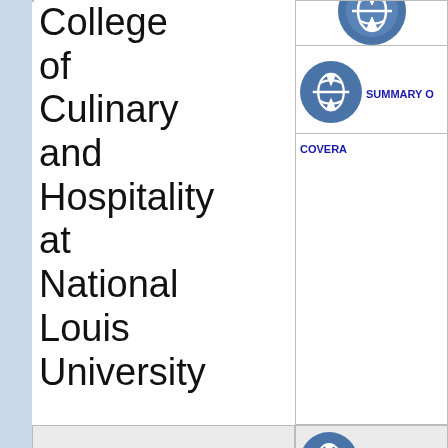College of Culinary and Hospitality at National Louis University
[Figure (illustration): Blue circular icon with globe/arrows symbol - partially visible at top right]
[Figure (illustration): Blue circular icon with globe/arrows symbol next to SUMMARY OF COVERAGE link]
SUMMARY OF COVERAGE
King's College
[Figure (illustration): Blue circular icon with globe/arrows symbol next to BUY 1ST CA... link]
BUY 1ST CA...
(ATHLETES
[Figure (illustration): Blue circular icon with downward arrow/globe symbol next to 1ST CARE OUTLIN... link]
1ST CARE OUTLIN...
[Figure (illustration): Blue circular icon partially visible at bottom right - BUY 1ST CA...]
BUY 1ST CA...